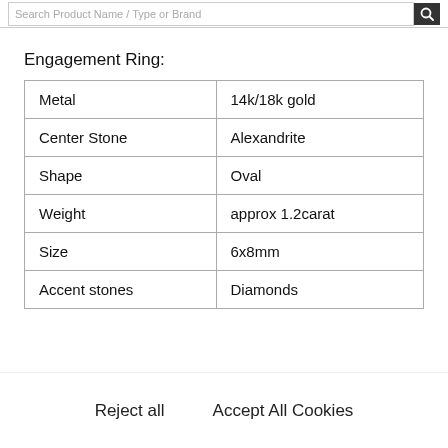Search Product Name / Type or Brand
Engagement Ring:
|  |  |
| --- | --- |
| Metal | 14k/18k gold |
| Center Stone | Alexandrite |
| Shape | Oval |
| Weight | approx 1.2carat |
| Size | 6x8mm |
| Accent stones | Diamonds |
Reject all
Accept All Cookies